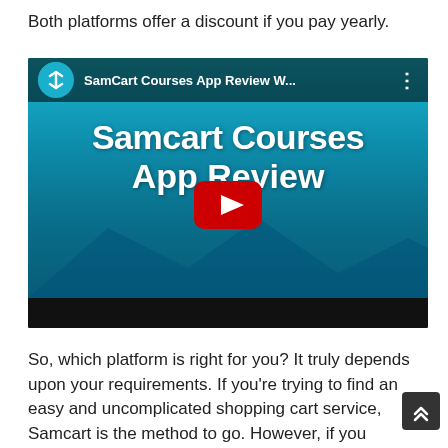Both platforms offer a discount if you pay yearly.
[Figure (screenshot): YouTube video thumbnail for 'SamCart Courses App Review W...' showing title 'Samcart Courses App Review' in white bold text on a teal/blue background with a mountain silhouette, with a YouTube play button in the center.]
So, which platform is right for you? It truly depends upon your requirements. If you're trying to find an easy and uncomplicated shopping cart service, Samcart is the method to go. However, if you require advanced functions, Kartra might be a much better